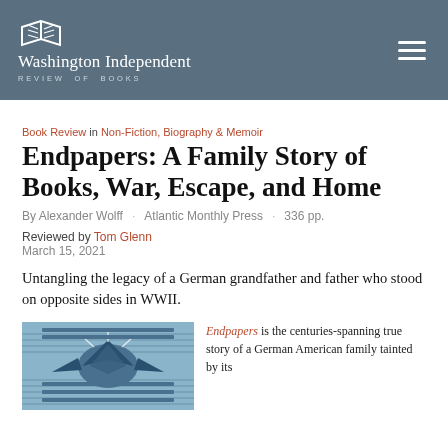Washington Independent Review of Books
Book Review in Non-Fiction, Biography & Memoir
Endpapers: A Family Story of Books, War, Escape, and Home
By Alexander Wolff · Atlantic Monthly Press · 336 pp.
Reviewed by Tom Glenn
March 15, 2021
Untangling the legacy of a German grandfather and father who stood on opposite sides in WWII.
[Figure (illustration): Book cover of Endpapers showing a blue woodcut-style illustration]
Endpapers is the centuries-spanning true story of a German American family tainted by its